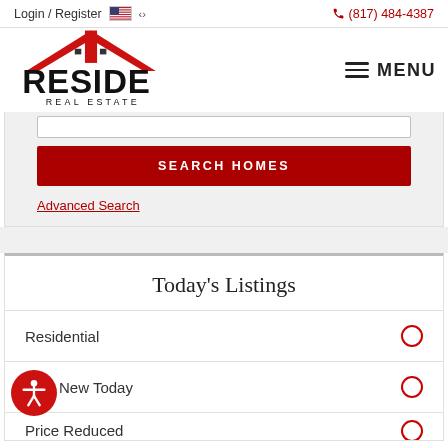Login / Register  🇺🇸 ∨  📞 (817) 484-4387
[Figure (logo): Reside Real Estate logo with red house roof and vertical line through letters]
MENU
SEARCH HOMES
Advanced Search
Today's Listings
Residential
New Today
Price Reduced